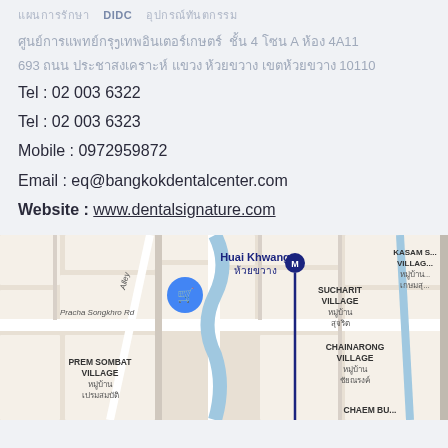Thai text ... DIDC ...Thai text
Thai address text ชั้น 4 โซน A ห้อง 4A11
693 Thai text ถนน Thai road name Thai district 10110
Tel : 02 003 6322
Tel : 02 003 6323
Mobile : 0972959872
Email : eq@bangkokdentalcenter.com
Website : www.dentalsignature.com
[Figure (map): Google Maps screenshot showing Huai Khwang area in Bangkok, with labels for Huai Khwang station, Sucharit Village, Chainarong Village, Prem Sombat Village, Pracha Songkhro Rd, Alley, and Kasam Village. A blue pin marker is visible near a shopping cart icon.]